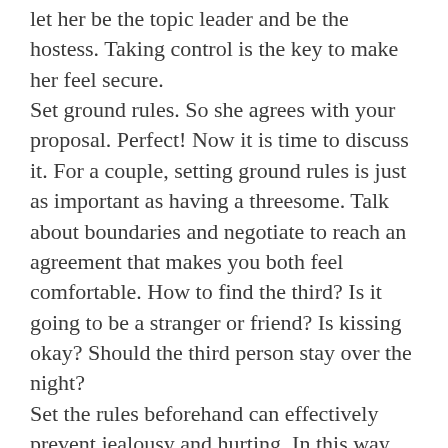let her be the topic leader and be the hostess. Taking control is the key to make her feel secure. Set ground rules. So she agrees with your proposal. Perfect! Now it is time to discuss it. For a couple, setting ground rules is just as important as having a threesome. Talk about boundaries and negotiate to reach an agreement that makes you both feel comfortable. How to find the third? Is it going to be a stranger or friend? Is kissing okay? Should the third person stay over the night? Set the rules beforehand can effectively prevent jealousy and hurting. In this way, everyone can enjoy themselves without worrying their actions might cause trouble or failure. Unfortunately for most couples or lovers, jealousy is inevitable no matter how hard you tried to prevent it. Naturally, you partner will feel uncomfortable when seeing you with another person. Jealousy is a very common feeling, especially in such circumstances. Therefore, take it by the